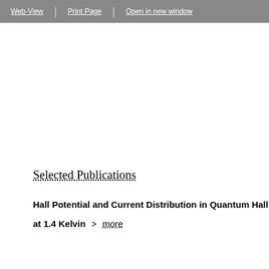Web-View | Print Page | Open in new window
Selected Publications
Hall Potential and Current Distribution in Quantum Hall Sam... at 1.4 Kelvin  > more